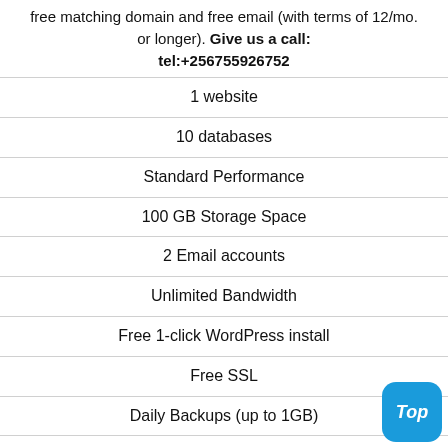free matching domain and free email (with terms of 12/mo. or longer). Give us a call: tel:+256755926752
1 website
10 databases
Standard Performance
100 GB Storage Space
2 Email accounts
Unlimited Bandwidth
Free 1-click WordPress install
Free SSL
Daily Backups (up to 1GB)
With an Expert Help